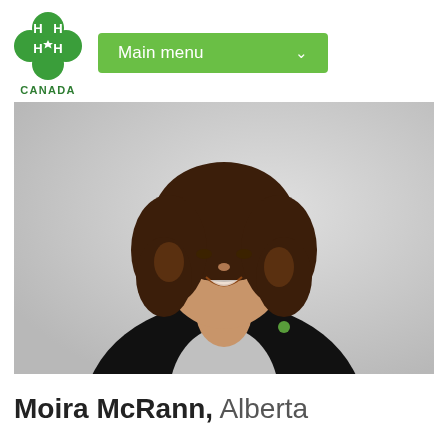[Figure (logo): 4-H Canada logo — green four-leaf clover with H letters and CANADA text below]
Main menu
[Figure (photo): Portrait photo of a young woman with curly brown hair, smiling, wearing a black blazer over a grey speckled top, against a light grey background]
Moira McRann, Alberta